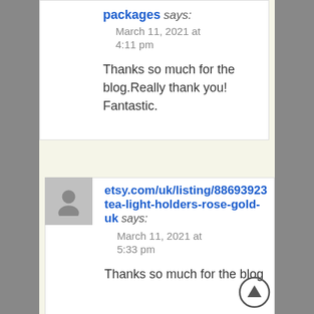packages says:
March 11, 2021 at 4:11 pm
Thanks so much for the blog.Really thank you! Fantastic.
etsy.com/uk/listing/88693923 tea-light-holders-rose-gold-uk says:
March 11, 2021 at 5:33 pm
Thanks so much for the blog